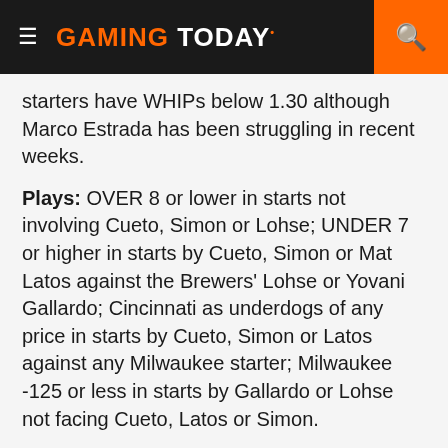Gaming Today
starters have WHIPs below 1.30 although Marco Estrada has been struggling in recent weeks.
Plays: OVER 8 or lower in starts not involving Cueto, Simon or Lohse; UNDER 7 or higher in starts by Cueto, Simon or Mat Latos against the Brewers' Lohse or Yovani Gallardo; Cincinnati as underdogs of any price in starts by Cueto, Simon or Latos against any Milwaukee starter; Milwaukee -125 or less in starts by Gallardo or Lohse not facing Cueto, Latos or Simon.
Blue Jays at A's: This is a four game series that starts Thursday. In their only prior series this season Toronto swept a three game home series in late May. It was a competitive series as the Blue Jays outscored the Athletics 11 to 5 as all three games stayed UNDER the total.
Oakland starts the week 51-30, the best record in baseball.